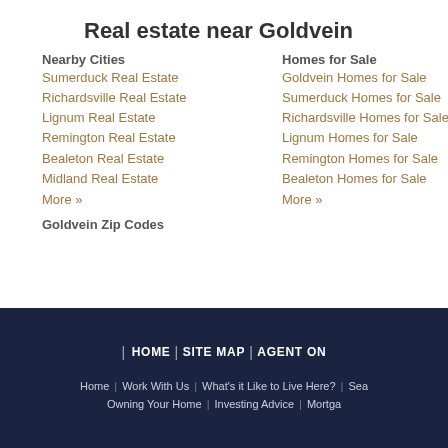Real estate near Goldvein
Nearby Cities
Sumerduck Real Estate
Richardsville Real Estate
Lignum Real Estate
Remington Real Estate
Bealeton Real Estate
Midland Real Estate
More »
Homes for Sale
Goldvein Homes for Sale
Sumerduck Homes for Sale
Richardsville Homes for Sale
Lignum Homes for Sale
Remington Homes for Sale
Bealeton Homes for Sale
More »
Goldvein Zip Codes
HOME | SITE MAP | AGENT ON
Home | Work With Us | What's it Like to Live Here? | Sea
Owning Your Home | Investing Advice | Mortga